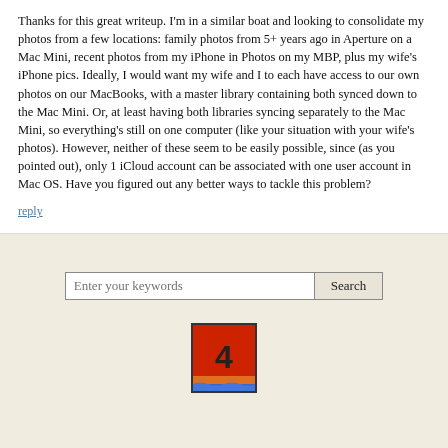Thanks for this great writeup. I'm in a similar boat and looking to consolidate my photos from a few locations: family photos from 5+ years ago in Aperture on a Mac Mini, recent photos from my iPhone in Photos on my MBP, plus my wife's iPhone pics. Ideally, I would want my wife and I to each have access to our own photos on our MacBooks, with a master library containing both synced down to the Mac Mini. Or, at least having both libraries syncing separately to the Mac Mini, so everything's still on one computer (like your situation with your wife's photos). However, neither of these seem to be easily possible, since (as you pointed out), only 1 iCloud account can be associated with one user account in Mac OS. Have you figured out any better ways to tackle this problem?
reply
[Figure (other): Search bar with text input 'Enter your keywords' and a Search button]
[Figure (logo): Logo with red shield shape containing a '4' symbol, orange and blue horizontal stripes at the bottom]